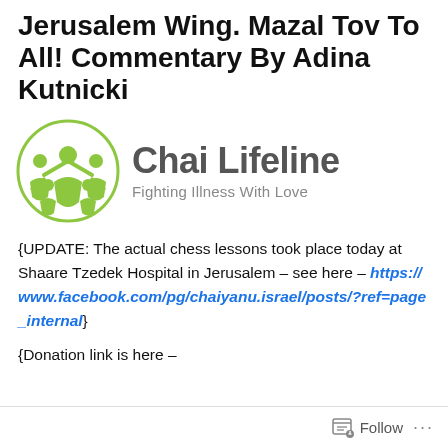Jerusalem Wing. Mazal Tov To All! Commentary By Adina Kutnicki
[Figure (logo): Chai Lifeline logo with green figures and text 'Chai Lifeline - Fighting Illness With Love']
{UPDATE: The actual chess lessons took place today at Shaare Tzedek Hospital in Jerusalem – see here – https://www.facebook.com/pg/chaiyanu.israel/posts/?ref=page_internal}
{Donation link is here –
Follow